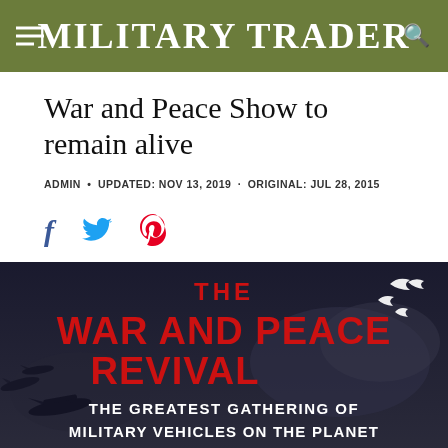Military Trader
War and Peace Show to remain alive
ADMIN • UPDATED: NOV 13, 2019 · ORIGINAL: JUL 28, 2015
[Figure (other): Social share icons: Facebook (f), Twitter (bird), Pinterest (P)]
[Figure (other): The War and Peace Revival banner image with dark background, WWII planes silhouettes, white doves, large red text reading THE WAR AND PEACE REVIVAL, and white text THE GREATEST GATHERING OF MILITARY VEHICLES ON THE PLANET]